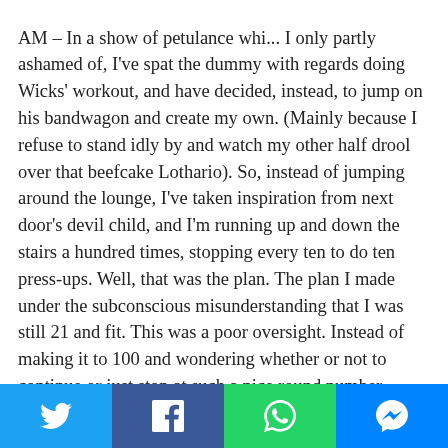AM – In a show of petulance which... I only partly ashamed of, I've spat the dummy with regards doing Wicks' workout, and have decided, instead, to jump on his bandwagon and create my own. (Mainly because I refuse to stand idly by and watch my other half drool over that beefcake Lothario). So, instead of jumping around the lounge, I've taken inspiration from next door's devil child, and I'm running up and down the stairs a hundred times, stopping every ten to do ten press-ups. Well, that was the plan. The plan I made under the subconscious misunderstanding that I was still 21 and fit. This was a poor oversight. Instead of making it to 100 and wondering whether or not to continue or just stop at such a nice round number, which was the dilemma I was expecting, I got to 20 and a mere handful of press-ups, before I fell to the floor, effectively beached, until I could either get my breath back or G could throw enough water on me to keep me alive until the tide came back in.